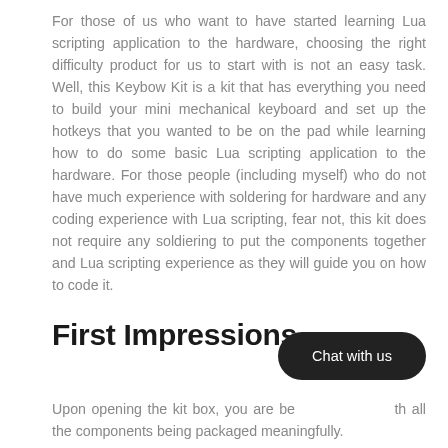For those of us who want to have started learning Lua scripting application to the hardware, choosing the right difficulty product for us to start with is not an easy task. Well, this Keybow Kit is a kit that has everything you need to build your mini mechanical keyboard and set up the hotkeys that you wanted to be on the pad while learning how to do some basic Lua scripting application to the hardware. For those people (including myself) who do not have much experience with soldering for hardware and any coding experience with Lua scripting, fear not, this kit does not require any soldiering to put the components together and Lua scripting experience as they will guide you on how to code it.
First Impressions
[Figure (other): Dark rounded rectangle button with white text reading 'Chat with us']
Upon opening the kit box, you are be[...] with all the components being packaged meaningfully.